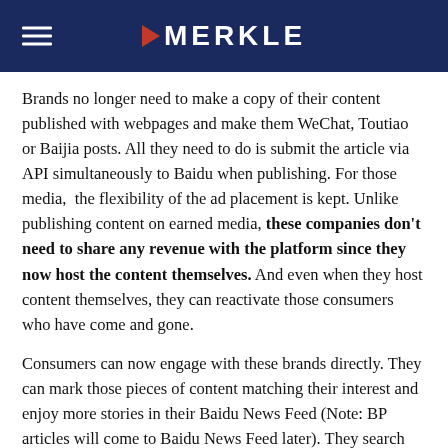MERKLE
Brands no longer need to make a copy of their content published with webpages and make them WeChat, Toutiao or Baijia posts. All they need to do is submit the article via API simultaneously to Baidu when publishing. For those media,  the flexibility of the ad placement is kept. Unlike publishing content on earned media, these companies don't need to share any revenue with the platform since they now host the content themselves. And even when they host content themselves, they can reactivate those consumers who have come and gone.
Consumers can now engage with these brands directly. They can mark those pieces of content matching their interest and enjoy more stories in their Baidu News Feed (Note: BP articles will come to Baidu News Feed later). They search for information and solutions while the information and solutions find them in another way. Most importantly, when the page load speed is guaranteed, everything gets